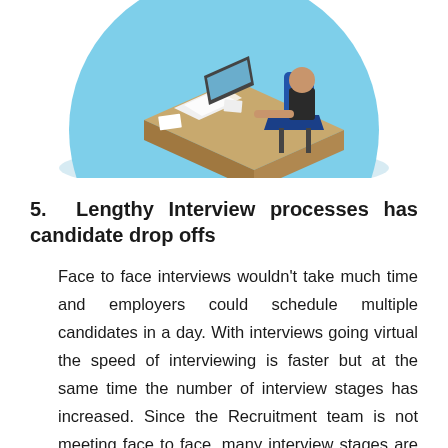[Figure (illustration): Isometric illustration of an interviewer seated at a desk with papers and a laptop, set on a light blue circular background. Partial view — the top half of the circle and figure.]
5. Lengthy Interview processes has candidate drop offs
Face to face interviews wouldn't take much time and employers could schedule multiple candidates in a day. With interviews going virtual the speed of interviewing is faster but at the same time the number of interview stages has increased. Since the Recruitment team is not meeting face to face, many interview stages are added to double sure that they are hiring the right fit talent. But what the Organizations don't realise is that may candidates drop off due